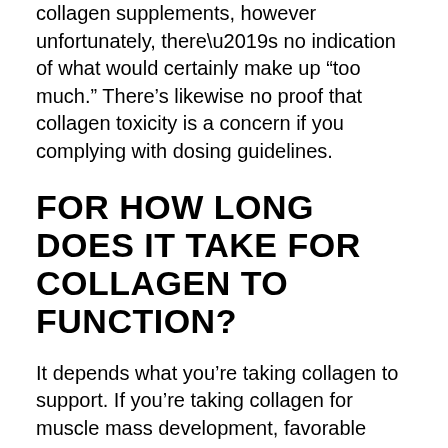collagen supplements, however unfortunately, there’s no indication of what would certainly make up “too much.” There’s likewise no proof that collagen toxicity is a concern if you complying with dosing guidelines.
FOR HOW LONG DOES IT TAKE FOR COLLAGEN TO FUNCTION?
It depends what you’re taking collagen to support. If you’re taking collagen for muscle mass development, favorable modifications will certainly begin to take place practically quickly with your exercises– although you may not see the progression right now.